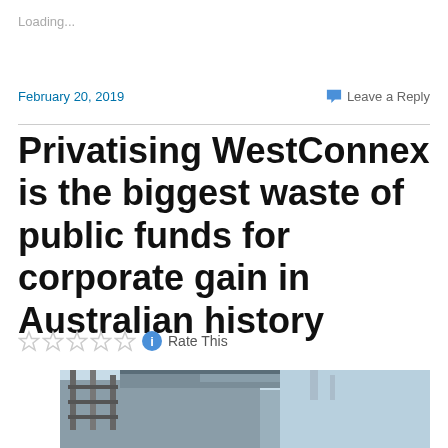Loading...
February 20, 2019
Leave a Reply
Privatising WestConnex is the biggest waste of public funds for corporate gain in Australian history
Rate This
[Figure (photo): Construction site photo showing scaffolding and structure against a light blue sky, partially visible at the bottom of the page]